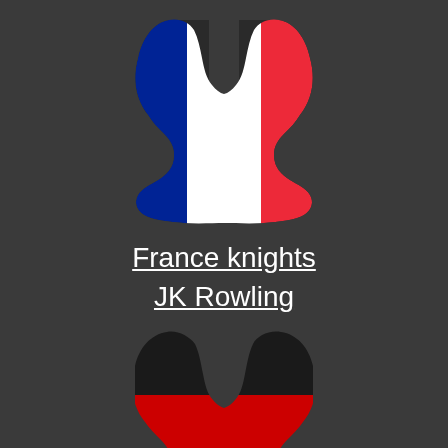[Figure (illustration): Two human head silhouettes facing each other, filled with the French flag (blue, white, red vertical stripes). Dark background.]
France knights
JK Rowling
[Figure (illustration): Two human head silhouettes facing each other, partially visible at bottom, filled with black and red (German flag colors). Dark background.]